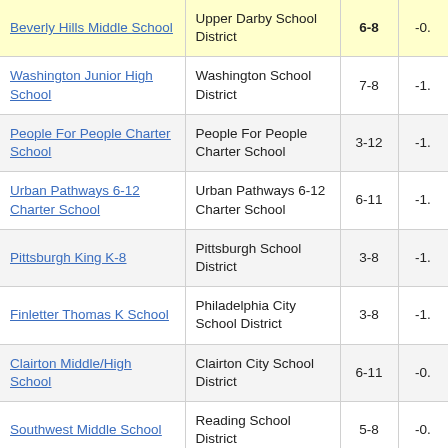| School Name | District | Grades | Score |
| --- | --- | --- | --- |
| Beverly Hills Middle School | Upper Darby School District | 6-8 | -0. |
| Washington Junior High School | Washington School District | 7-8 | -1. |
| People For People Charter School | People For People Charter School | 3-12 | -1. |
| Urban Pathways 6-12 Charter School | Urban Pathways 6-12 Charter School | 6-11 | -1. |
| Pittsburgh King K-8 | Pittsburgh School District | 3-8 | -1. |
| Finletter Thomas K School | Philadelphia City School District | 3-8 | -1. |
| Clairton Middle/High School | Clairton City School District | 6-11 | -0. |
| Southwest Middle School | Reading School District | 5-8 | -0. |